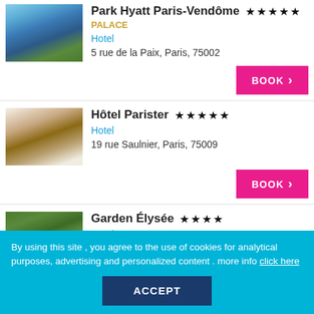[Figure (photo): Hotel rooftop terrace with Paris skyline view, blue sky]
Park Hyatt Paris-Vendome ★★★★★
PALACE
Hotel
5 rue de la Paix, Paris, 75002
[Figure (photo): Hotel room with wooden wall and blue sofa]
Hôtel Parister ★★★★★
Hotel
19 rue Saulnier, Paris, 75009
[Figure (photo): Garden with lush green ivy and plants]
Garden Élysée ★★★★
Hotel
12 rue Saint-Didier, Paris, 75016
By using this site , you agree to the use of cookies for analytical purposes, advertising and personalized content . more info click here